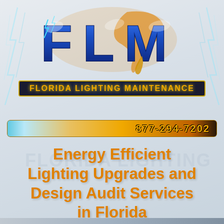[Figure (logo): FLM Florida Lighting Maintenance logo with large blue and orange 3D letters F, L, M over a map of Florida, cyan lightning bolts on sides, and a dark bar below reading FLORIDA LIGHTING MAINTENANCE in gold text]
[Figure (other): Decorative phone number bar with gradient orange and teal background showing 877-294-7202 in gold bold text]
Energy Efficient Lighting Upgrades and Design Audit Services in Florida